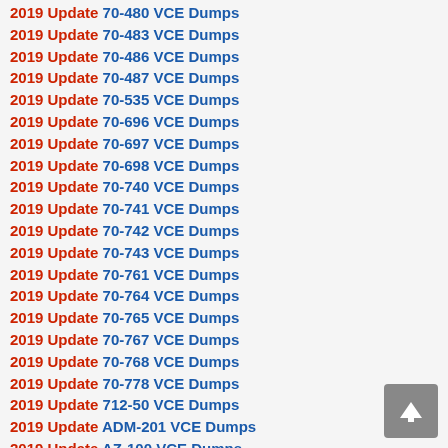2019 Update 70-480 VCE Dumps
2019 Update 70-483 VCE Dumps
2019 Update 70-486 VCE Dumps
2019 Update 70-487 VCE Dumps
2019 Update 70-535 VCE Dumps
2019 Update 70-696 VCE Dumps
2019 Update 70-697 VCE Dumps
2019 Update 70-698 VCE Dumps
2019 Update 70-740 VCE Dumps
2019 Update 70-741 VCE Dumps
2019 Update 70-742 VCE Dumps
2019 Update 70-743 VCE Dumps
2019 Update 70-761 VCE Dumps
2019 Update 70-764 VCE Dumps
2019 Update 70-765 VCE Dumps
2019 Update 70-767 VCE Dumps
2019 Update 70-768 VCE Dumps
2019 Update 70-778 VCE Dumps
2019 Update 712-50 VCE Dumps
2019 Update ADM-201 VCE Dumps
2019 Update AZ-100 VCE Dumps